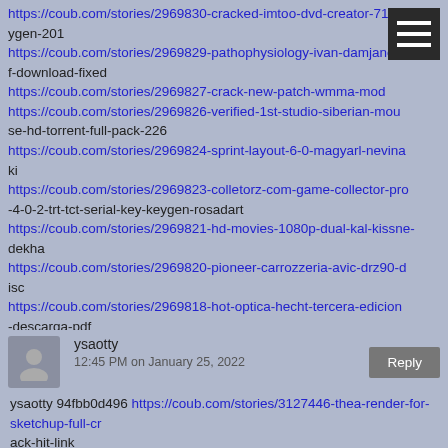https://coub.com/stories/2969830-cracked-imtoo-dvd-creator-713-keygen-201
https://coub.com/stories/2969829-pathophysiology-ivan-damjanov-pdf-download-fixed
https://coub.com/stories/2969827-crack-new-patch-wmma-mod
https://coub.com/stories/2969826-verified-1st-studio-siberian-mouse-hd-torrent-full-pack-226
https://coub.com/stories/2969824-sprint-layout-6-0-magyarl-nevinaki
https://coub.com/stories/2969823-colletorz-com-game-collector-pro-4-0-2-trt-tct-serial-key-keygen-rosadart
https://coub.com/stories/2969821-hd-movies-1080p-dual-kal-kissne-dekha
https://coub.com/stories/2969820-pioneer-carrozzeria-avic-drz90-disc
https://coub.com/stories/2969818-hot-optica-hecht-tercera-edicion-descarga-pdf
ysaotty
12:45 PM on January 25, 2022
ysaotty 94fbb0d496 https://coub.com/stories/3127446-thea-render-for-sketchup-full-crack-hit-link https://coub.com/stories/3127445-anydesk-5-1-2-crack-with-serial-code-free-download-free https://coub.com/stories/3127444-hot-download-idm-609-crack-cocaine